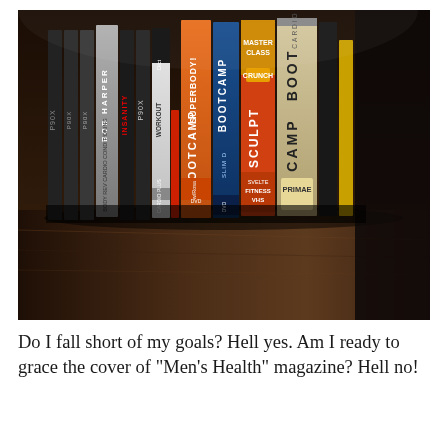[Figure (photo): A photograph of fitness DVDs and VHS tapes standing upright on a wooden shelf. Visible titles include Bob Harper, P90X, Insanity, Boot Camp Cardio, Sculpt, Master Class Crunch, Superbody Boot Camp, and other workout videos. The shelf is dimly lit with warm tones.]
Do I fall short of my goals? Hell yes. Am I ready to grace the cover of "Men's Health" magazine? Hell no!